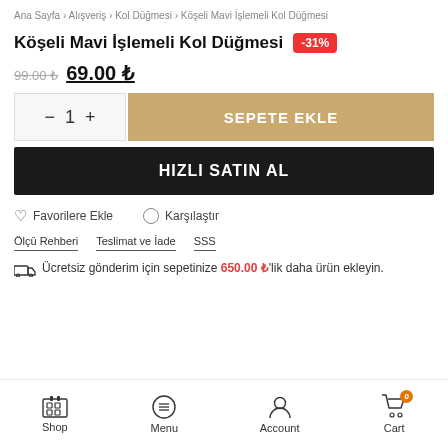Ana Sayfa > Alışveriş > Kol Düğmesi > Köşeli Mavi İşlemeli Kol Düğmesi
Köşeli Mavi İşlemeli Kol Düğmesi
-31%
99.00 ₺  69.00 ₺
SEPETE EKLE
HIZLI SATIN AL
Favorilere Ekle
Karşılaştır
Ölçü Rehberi   Teslimat ve İade   SSS
Ücretsiz gönderim için sepetinize 650.00 ₺'lik daha ürün ekleyin.
Shop  Menu  Account  Cart